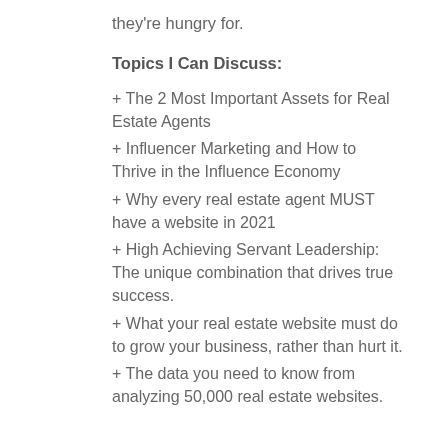they're hungry for.
Topics I Can Discuss:
+ The 2 Most Important Assets for Real Estate Agents
+ Influencer Marketing and How to Thrive in the Influence Economy
+ Why every real estate agent MUST have a website in 2021
+ High Achieving Servant Leadership: The unique combination that drives true success.
+ What your real estate website must do to grow your business, rather than hurt it.
+ The data you need to know from analyzing 50,000 real estate websites.